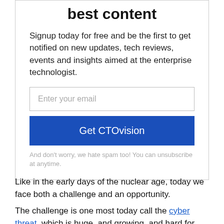best content
Signup today for free and be the first to get notified on new updates, tech reviews, events and insights aimed at the enterprise technologist.
Enter your email
Get CTOvision
And don't worry, we hate spam too! You can unsubscribe at anytime.
Like in the early days of the nuclear age, today we face both a challenge and an opportunity.
The challenge is one most today call the cyber threat, which is huge, and growing, and hard for